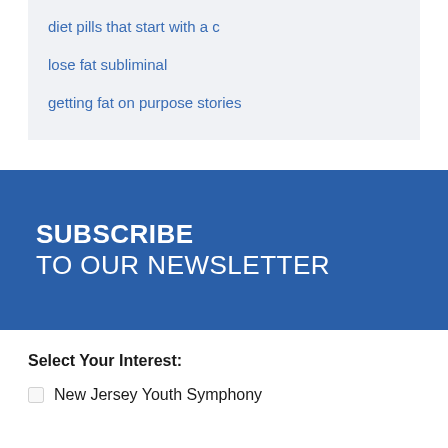diet pills that start with a c
lose fat subliminal
getting fat on purpose stories
[Figure (infographic): Blue banner with diagonal cut on the right side containing text SUBSCRIBE TO OUR NEWSLETTER in white uppercase letters]
Select Your Interest:
New Jersey Youth Symphony